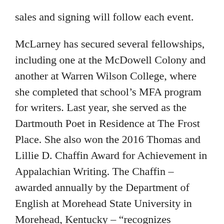sales and signing will follow each event.
McLarney has secured several fellowships, including one at the McDowell Colony and another at Warren Wilson College, where she completed that school’s MFA program for writers. Last year, she served as the Dartmouth Poet in Residence at The Frost Place. She also won the 2016 Thomas and Lillie D. Chaffin Award for Achievement in Appalachian Writing. The Chaffin – awarded annually by the Department of English at Morehead State University in Morehead, Kentucky – “recognizes outstanding Appalachian writers in all genres.”
In 2012, McLarney received the Fellowship of Southern Writers’ biennial George Garrett New Writing Award for Poetry. She is the co-editor in chief and poetry editor of